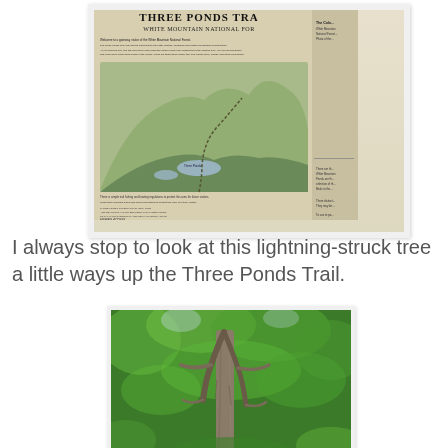[Figure (photo): Photograph of a Three Ponds Trail informational sign from White Mountain National Forest, showing a trail map with terrain illustration and text panels.]
I always stop to look at this lightning-struck tree a little ways up the Three Ponds Trail.
[Figure (photo): Photograph of a lightning-struck tree along the Three Ponds Trail, showing a split grey tree trunk surrounded by lush green foliage.]